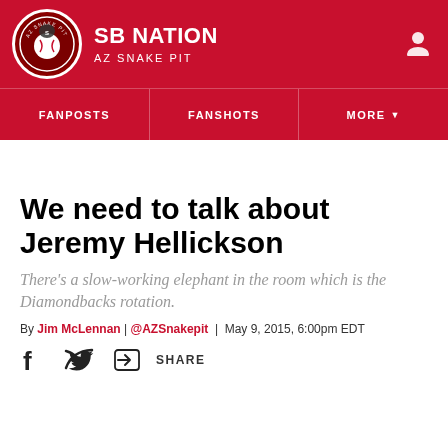SB NATION | AZ SNAKE PIT
[Figure (logo): SB Nation AZ Snake Pit circular logo with baseball and snake design on red background]
FANPOSTS | FANSHOTS | MORE
We need to talk about Jeremy Hellickson
There's a slow-working elephant in the room which is the Diamondbacks rotation.
By Jim McLennan | @AZSnakepit | May 9, 2015, 6:00pm EDT